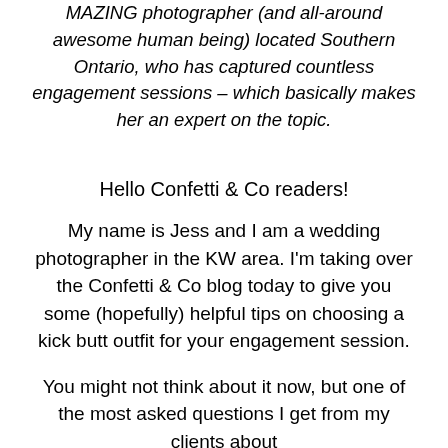MAZING photographer (and all-around awesome human being) located Southern Ontario, who has captured countless engagement sessions – which basically makes her an expert on the topic.
Hello Confetti & Co readers!
My name is Jess and I am a wedding photographer in the KW area. I'm taking over the Confetti & Co blog today to give you some (hopefully) helpful tips on choosing a kick butt outfit for your engagement session.
You might not think about it now, but one of the most asked questions I get from my clients about